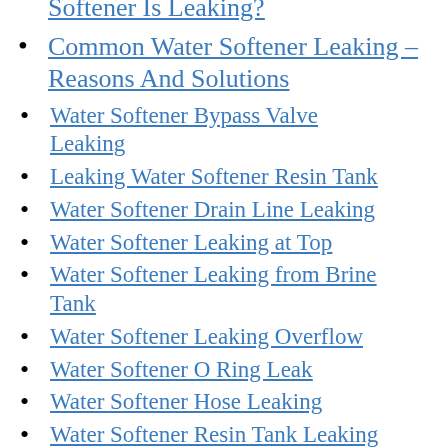Softener Is Leaking? (truncated top)
Common Water Softener Leaking – Reasons And Solutions
Water Softener Bypass Valve Leaking
Leaking Water Softener Resin Tank
Water Softener Drain Line Leaking
Water Softener Leaking at Top
Water Softener Leaking from Brine Tank
Water Softener Leaking Overflow
Water Softener O Ring Leak
Water Softener Hose Leaking
Water Softener Resin Tank Leaking from Bottom (truncated)